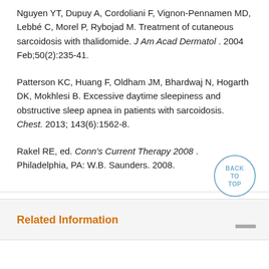Nguyen YT, Dupuy A, Cordoliani F, Vignon-Pennamen MD, Lebbé C, Morel P, Rybojad M. Treatment of cutaneous sarcoidosis with thalidomide. J Am Acad Dermatol . 2004 Feb;50(2):235-41.
Patterson KC, Huang F, Oldham JM, Bhardwaj N, Hogarth DK, Mokhlesi B. Excessive daytime sleepiness and obstructive sleep apnea in patients with sarcoidosis. Chest. 2013; 143(6):1562-8.
Rakel RE, ed. Conn's Current Therapy 2008 . Philadelphia, PA: W.B. Saunders. 2008.
Related Information